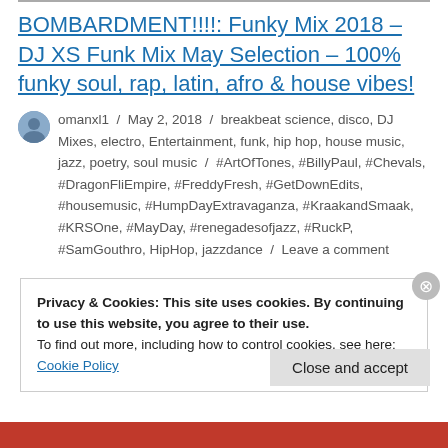BOMBARDMENT!!!!: Funky Mix 2018 – DJ XS Funk Mix May Selection – 100% funky soul, rap, latin, afro & house vibes!
omanxl1 / May 2, 2018 / breakbeat science, disco, DJ Mixes, electro, Entertainment, funk, hip hop, house music, jazz, poetry, soul music / #ArtOfTones, #BillyPaul, #Chevals, #DragonFliEmpire, #FreddyFresh, #GetDownEdits, #housemusic, #HumpDayExtravaganza, #KraakandSmaak, #KRSOne, #MayDay, #renegadesofjazz, #RuckP, #SamGouthro, HipHop, jazzdance / Leave a comment
Privacy & Cookies: This site uses cookies. By continuing to use this website, you agree to their use.
To find out more, including how to control cookies, see here:
Cookie Policy
Close and accept